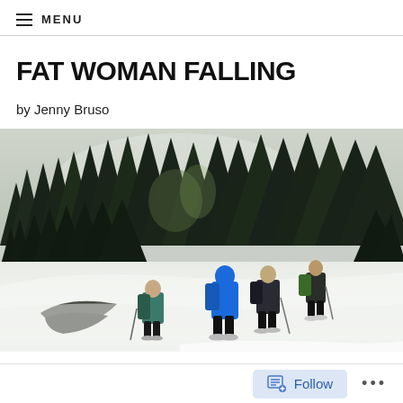MENU
FAT WOMAN FALLING
by Jenny Bruso
[Figure (photo): Group of hikers with snowshoes and trekking poles walking on a snowy trail through a dense evergreen forest in winter. Three or four people are visible from behind, wearing blue and dark jackets with backpacks. Snow covers the ground and the forest floor in the background.]
Follow ...